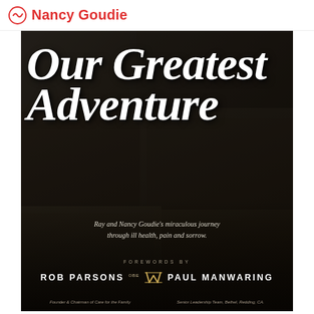Nancy Goudie
[Figure (photo): Book cover for 'Our Greatest Adventure' by Ray and Nancy Goudie. Dark background with photo collage of people. Large white script title text reading 'Our Greatest Adventure'. Subtitle: 'Ray and Nancy Goudie's miraculous journey through ill health, pain and sorrow.' Forewords by Rob Parsons OBE and Paul Manwaring.]
Our Greatest Adventure
Ray and Nancy Goudie's miraculous journey through ill health, pain and sorrow.
FOREWORDS BY
ROB PARSONS OBE   PAUL MANWARING
Founder & Chairman of Care for the Family
Senior Leadership Team, Bethel, Redding, CA.